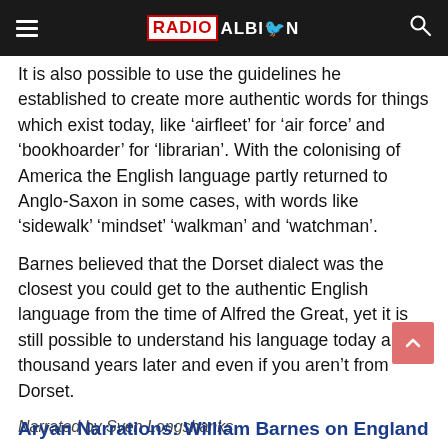RADIO ALBION
It is also possible to use the guidelines he established to create more authentic words for things which exist today, like ‘airfleet’ for ‘air force’ and ‘bookhoarder’ for ‘librarian’. With the colonising of America the English language partly returned to Anglo-Saxon in some cases, with words like ‘sidewalk’ ‘mindset’ ‘walkman’ and ‘watchman’.
Barnes believed that the Dorset dialect was the closest you could get to the authentic English language from the time of Alfred the Great, yet it is still possible to understand his language today a thousand years later and even if you aren’t from Dorset.
Narrated by Sven Longshanks
Aryan Narrations: William Barnes on England